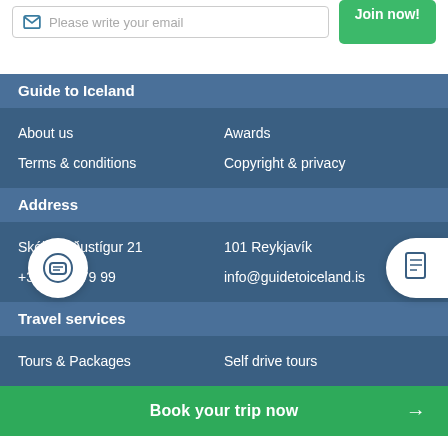[Figure (screenshot): Email input box with envelope icon and placeholder text 'Please write your email', and a green 'Join now!' button]
Guide to Iceland
About us
Awards
Terms & conditions
Copyright & privacy
Address
Skólavörðustígur 21
101 Reykjavík
+354 519 79 99
info@guidetoiceland.is
Travel services
Tours & Packages
Self drive tours
Book your trip now →